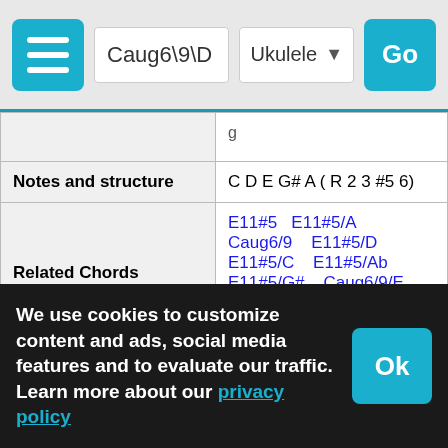Caug6\9\D — Ukulele — Go
| Property | Value |
| --- | --- |
| Notes and structure | C D E G# A ( R 2 3 #5 6) |
| Related Chords | E11#5  E11#5/A  Caug6/9  E11#5/D  E11#5/C  E11#5/Ab  E11#5/G#  Caug6/9/E  Caug6/9/A  Am(maj11)  Caug6/9/G# |
| Chord Categories | maj  aug  6 |
| Other Notations | Caug6/7/9/D; Caug6/7/D add2; Caug6/7/D add9; |
| Chord Construction | major chord: chord has major third (R + 3)
chord is (aug): major + has augmented 5th (R´+ #5)
chord is aug6 (augmented with... |
We use cookies to customize content and ads, social media features and to evaluate our traffic. Learn more about our privacy policy